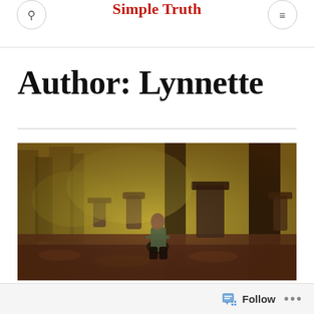Simple Truth
Author: Lynnette
[Figure (photo): A man kneeling among old gravestones in a cemetery with trees in the background, image has a warm golden/sepia tone]
Follow